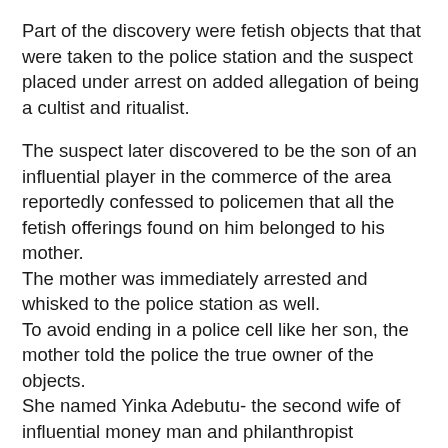Part of the discovery were fetish objects that that were taken to the police station and the suspect placed under arrest on added allegation of being a cultist and ritualist.
The suspect later discovered to be the son of an influential player in the commerce of the area reportedly confessed to policemen that all the fetish offerings found on him belonged to his mother.
The mother was immediately arrested and whisked to the police station as well.
To avoid ending in a police cell like her son, the mother told the police the true owner of the objects.
She named Yinka Adebutu- the second wife of influential money man and philanthropist Kessington Adebutu.
Based on the dimension the investigation was taking- the police immediately contacted the money man- before inviting his wife for questioning.
The man of means was said to have arrived the station before his wife- and reportedly positioned at a spot he could hear all that was said.
On arrival Yinka was said to have owned up to the ownership of the materials- but begged that the matter quietly resolved.